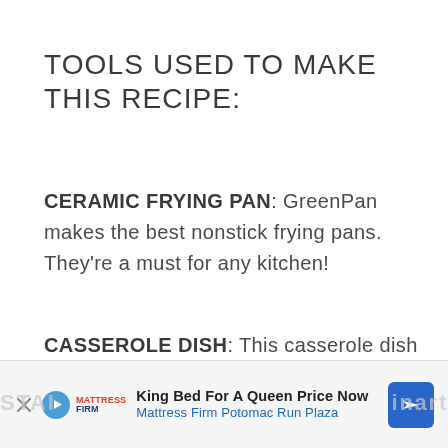TOOLS USED TO MAKE THIS RECIPE:
CERAMIC FRYING PAN: GreenPan makes the best nonstick frying pans. They're a must for any kitchen!
CASSEROLE DISH: This casserole dish is a dream! I love the convenient cover, especially when cooking for parties!
[Figure (other): Advertisement banner: King Bed For A Queen Price Now - Mattress Firm Potomac Run Plaza, with play button, Mattress Firm logo, and navigation arrow icon]
STAI... inart